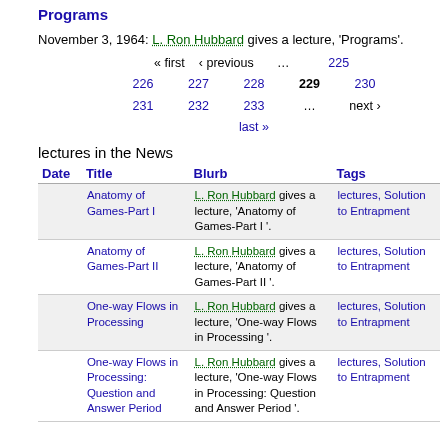Programs
November 3, 1964: L. Ron Hubbard gives a lecture, 'Programs'.
« first  ‹ previous  …  225  226  227  228  229  230  231  232  233  …  next ›  last »
lectures in the News
| Date | Title | Blurb | Tags |
| --- | --- | --- | --- |
|  | Anatomy of Games-Part I | L. Ron Hubbard gives a lecture, 'Anatomy of Games-Part I '. | lectures, Solution to Entrapment |
|  | Anatomy of Games-Part II | L. Ron Hubbard gives a lecture, 'Anatomy of Games-Part II '. | lectures, Solution to Entrapment |
|  | One-way Flows in Processing | L. Ron Hubbard gives a lecture, 'One-way Flows in Processing '. | lectures, Solution to Entrapment |
|  | One-way Flows in Processing: Question and Answer Period | L. Ron Hubbard gives a lecture, 'One-way Flows in Processing: Question and Answer Period '. | lectures, Solution to Entrapment |